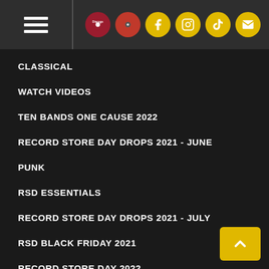Navigation header with hamburger menu and social icons
CLASSICAL
WATCH VIDEOS
TEN BANDS ONE CAUSE 2022
RECORD STORE DAY DROPS 2021 - JUNE
PUNK
RSD ESSENTIALS
RECORD STORE DAY DROPS 2021 - JULY
RSD BLACK FRIDAY 2021
RECORD STORE DAY 2022